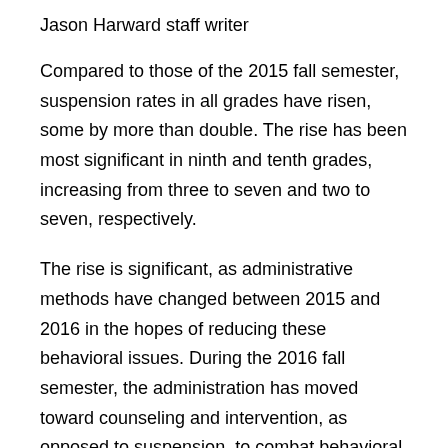Jason Harward staff writer
Compared to those of the 2015 fall semester, suspension rates in all grades have risen, some by more than double. The rise has been most significant in ninth and tenth grades, increasing from three to seven and two to seven, respectively.
The rise is significant, as administrative methods have changed between 2015 and 2016 in the hopes of reducing these behavioral issues. During the 2016 fall semester, the administration has moved toward counseling and intervention, as opposed to suspension, to combat behavioral issues. These new amendments, however, have not had the impact that administrators hoped for.
According to principal David Jackson, counseling and smaller